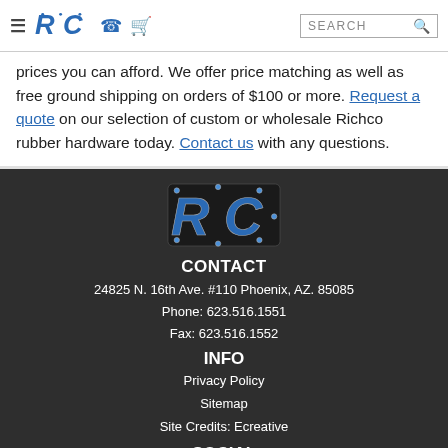RC [logo] [phone icon] [cart icon] SEARCH
prices you can afford. We offer price matching as well as free ground shipping on orders of $100 or more. Request a quote on our selection of custom or wholesale Richco rubber hardware today. Contact us with any questions.
[Figure (logo): RC logo in blue and silver on dark footer background]
CONTACT
24825 N. 16th Ave. #110 Phoenix, AZ. 85085
Phone: 623.516.1551
Fax: 623.516.1552
INFO
Privacy Policy
Sitemap
Site Credits: Ecreative
SOCIAL
[Figure (illustration): Social media icons: Facebook, Twitter/X, Instagram, YouTube, LinkedIn]